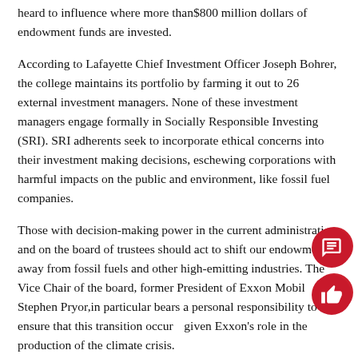heard to influence where more than$800 million dollars of endowment funds are invested.
According to Lafayette Chief Investment Officer Joseph Bohrer, the college maintains its portfolio by farming it out to 26 external investment managers. None of these investment managers engage formally in Socially Responsible Investing (SRI). SRI adherents seek to incorporate ethical concerns into their investment making decisions, eschewing corporations with harmful impacts on the public and environment, like fossil fuel companies.
Those with decision-making power in the current administration, and on the board of trustees should act to shift our endowment away from fossil fuels and other high-emitting industries. The Vice Chair of the board, former President of Exxon Mobil Stephen Pryor,in particular bears a personal responsibility to ensure that this transition occurs, given Exxon's role in the production of the climate crisis.
Let's start by switching from a handful of managers that have significant portions of their portfolio invested in fossil fuel companies, andopt for ones that prioritize ecological and social